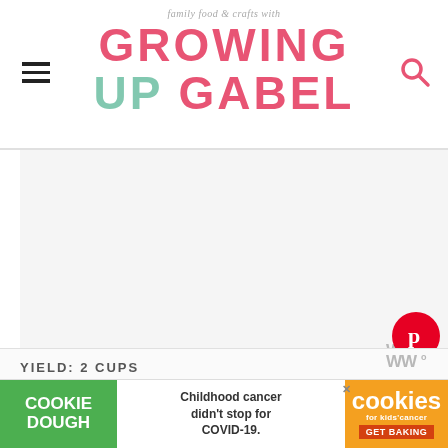family food & crafts with GROWING UP GABEL
[Figure (screenshot): Blank light gray advertisement placeholder area]
[Figure (logo): Pinterest circular red button with P icon]
YIELD: 2 CUPS
[Figure (screenshot): Cookie Dough / Cookies for Kids' Cancer banner advertisement: Childhood cancer didn't stop for COVID-19. GET BAKING]